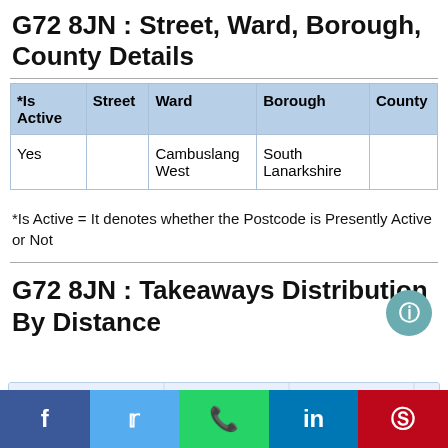G72 8JN : Street, Ward, Borough, County Details
| *Is Active | Street | Ward | Borough | County |
| --- | --- | --- | --- | --- |
| Yes |  | Cambuslang West | South Lanarkshire |  |
*Is Active = It denotes whether the Postcode is Presently Active or Not
G72 8JN : Takeaways Distribution By Distance
[Figure (bar-chart): Partial bar chart showing Takeaways Distribution By Distance, with 4Km label visible on y-axis]